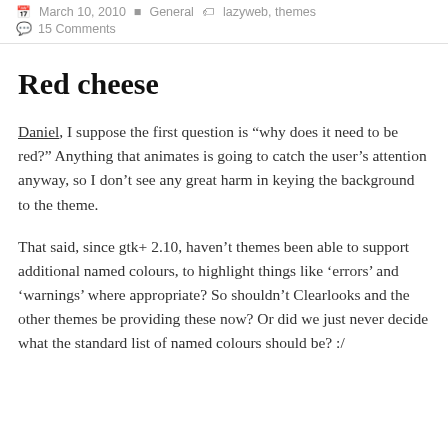March 10, 2010  General  lazyweb, themes
15 Comments
Red cheese
Daniel, I suppose the first question is “why does it need to be red?” Anything that animates is going to catch the user’s attention anyway, so I don’t see any great harm in keying the background to the theme.
That said, since gtk+ 2.10, haven’t themes been able to support additional named colours, to highlight things like ‘errors’ and ‘warnings’ where appropriate? So shouldn’t Clearlooks and the other themes be providing these now? Or did we just never decide what the standard list of named colours should be? :/